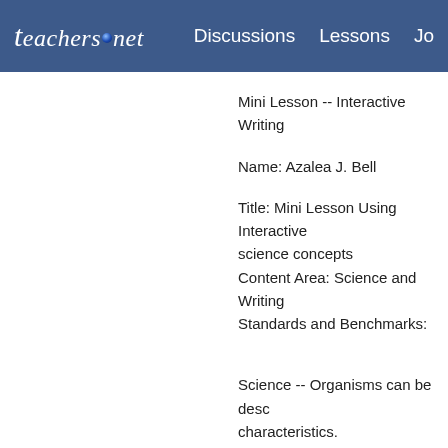teachers.net  Discussions  Lessons  Jo
Mini Lesson -- Interactive Writing
Name: Azalea J. Bell
Title: Mini Lesson Using Interactive ... science concepts
Content Area: Science and Writing
Standards and Benchmarks:
Science -- Organisms can be desc... characteristics.
Writing -- Pictures, labels and fami... communicate information and idea...
Objectives:
Students will read Animal Covering... piece that demonstrates their know...